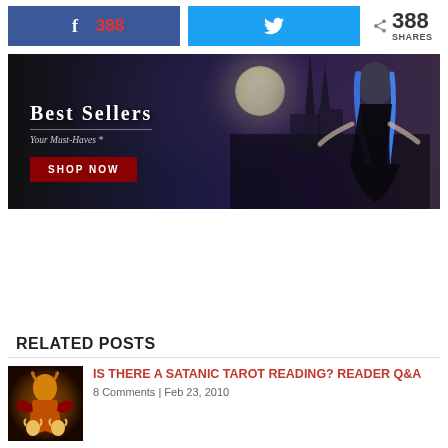[Figure (infographic): Social share bar with Facebook button showing 388 shares in red, Twitter button with bird icon, and share count showing 388 SHARES]
[Figure (photo): Gothic fantasy advertisement banner: woman with blue hair in black corset dress against dark moonlit sky with ruined cityscape. Text reads 'Best Sellers / Your Must-Haves / SHOP NOW' with dark red button.]
RELATED POSTS
[Figure (photo): Thumbnail image of dark gothic/satanic tarot card artwork showing a demonic figure]
IS THERE A SATANIC TAROT READING? READER Q&A
8 Comments | Feb 23, 2010